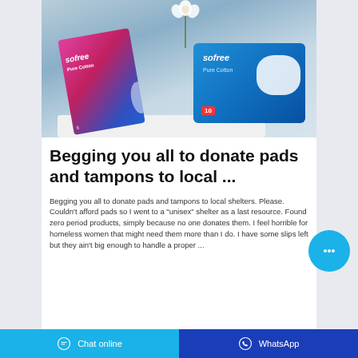[Figure (photo): Product photo showing two Sofree Pure Cotton feminine hygiene packages — a pink/blue upright package on the left and a blue flat package on the right — on a white cloth surface with white flowers in the background against a blue-grey backdrop.]
Begging you all to donate pads and tampons to local ...
Begging you all to donate pads and tampons to local shelters. Please. Couldn't afford pads so I went to a "unisex" shelter as a last resource. Found zero period products, simply because no one donates them. I feel horrible for homeless women that might need them more than I do. I have some slips left but they ain't big enough to handle a proper ...
Chat online   WhatsApp